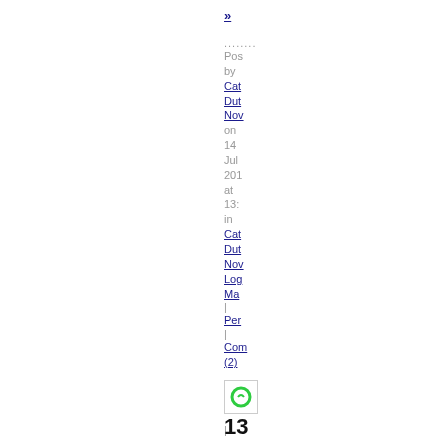»
.........
Posted by
Cat
Dut
Nov
on
14
Jul
2011
at
13:
in
Cat
Dut
Nov
Log
Ma
|
Per
|
Com
(2)
[Figure (logo): Small green circular icon/logo]
[Figure (logo): Small icon with blue and black squares]
13